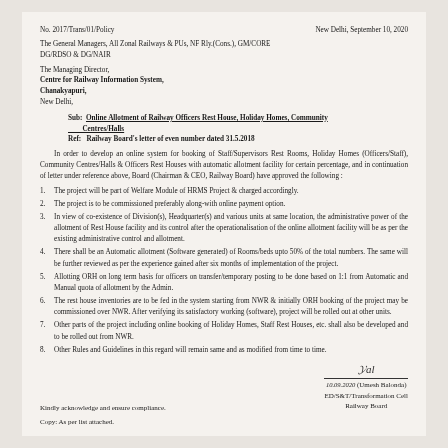No. 2017/Trans/01/Policy | New Delhi, September 10, 2020
The General Managers, All Zonal Railways & PUs, NF Rly.(Cons.), GM/CORE
DG/RDSO & DG/NAIR
The Managing Director,
Centre for Railway Information System,
Chanakyapuri,
New Delhi,
Sub: Online Allotment of Railway Officers Rest House, Holiday Homes, Community Centres/Halls
Ref: Railway Board's letter of even number dated 31.5.2018
In order to develop an online system for booking of Staff/Supervisors Rest Rooms, Holiday Homes (Officers/Staff), Community Centres/Halls & Officers Rest Houses with automatic allotment facility for certain percentage, and in continuation of letter under reference above, Board (Chairman & CEO, Railway Board) have approved the following :
1. The project will be part of Welfare Module of HRMS Project & charged accordingly.
2. The project is to be commissioned preferably along-with online payment option.
3. In view of co-existence of Division(s), Headquarter(s) and various units at same location, the administrative power of the allotment of Rest House facility and its control after the operationalisation of the online allotment facility will be as per the existing administrative control and allotment.
4. There shall be an Automatic allotment (Software generated) of Rooms/beds upto 50% of the total numbers. The same will be further reviewed as per the experience gained after six months of implementation of the project.
5. Allotting ORH on long term basis for officers on transfer/temporary posting to be done based on 1:1 from Automatic and Manual quota of allotment by the Admin.
6. The rest house inventories are to be fed in the system starting from NWR & initially ORH booking of the project may be commissioned over NWR. After verifying its satisfactory working (software), project will be rolled out at other units.
7. Other parts of the project including online booking of Holiday Homes, Staff Rest Houses, etc. shall also be developed and to be rolled out from NWR.
8. Other Rules and Guidelines in this regard will remain same and as modified from time to time.
Kindly acknowledge and ensure compliance.
(Umesh Balonda)
ED/S&T/Transformation Cell
Railway Board
Copy: As per list attached.